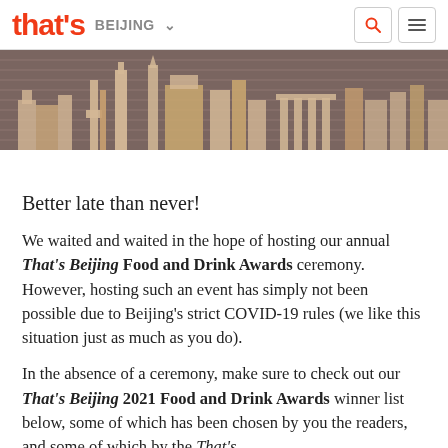that's BEIJING
[Figure (illustration): Decorative banner showing a sepia-toned skyline silhouette of Beijing landmarks including CCTV Tower, skyscrapers, and ancient columns, with horizontal line patterns in the background.]
Better late than never!
We waited and waited in the hope of hosting our annual That's Beijing Food and Drink Awards ceremony. However, hosting such an event has simply not been possible due to Beijing's strict COVID-19 rules (we like this situation just as much as you do).
In the absence of a ceremony, make sure to check out our That's Beijing 2021 Food and Drink Awards winner list below, some of which has been chosen by you the readers, and some of which by the That's